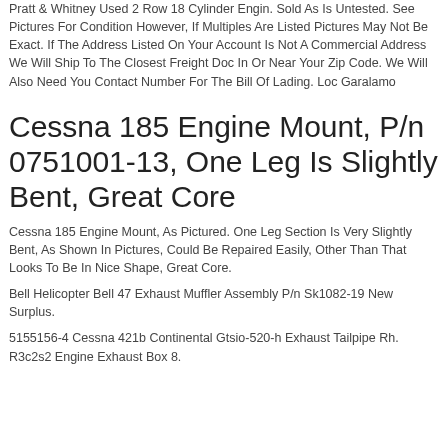Pratt & Whitney Used 2 Row 18 Cylinder Engin. Sold As Is Untested. See Pictures For Condition However, If Multiples Are Listed Pictures May Not Be Exact. If The Address Listed On Your Account Is Not A Commercial Address We Will Ship To The Closest Freight Doc In Or Near Your Zip Code. We Will Also Need You Contact Number For The Bill Of Lading. Loc Garalamo
Cessna 185 Engine Mount, P/n 0751001-13, One Leg Is Slightly Bent, Great Core
Cessna 185 Engine Mount, As Pictured. One Leg Section Is Very Slightly Bent, As Shown In Pictures, Could Be Repaired Easily, Other Than That Looks To Be In Nice Shape, Great Core.
Bell Helicopter Bell 47 Exhaust Muffler Assembly P/n Sk1082-19 New Surplus.
5155156-4 Cessna 421b Continental Gtsio-520-h Exhaust Tailpipe Rh. R3c2s2 Engine Exhaust Box 8.